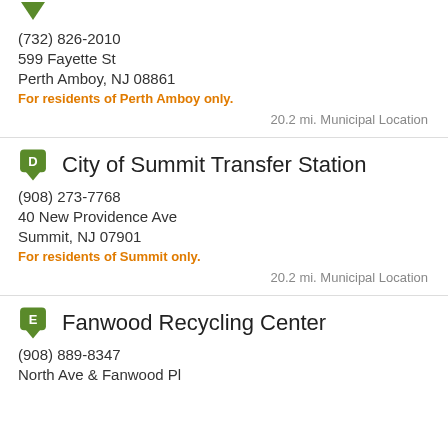(732) 826-2010
599 Fayette St
Perth Amboy, NJ 08861
For residents of Perth Amboy only.
20.2 mi. Municipal Location
City of Summit Transfer Station
(908) 273-7768
40 New Providence Ave
Summit, NJ 07901
For residents of Summit only.
20.2 mi. Municipal Location
Fanwood Recycling Center
(908) 889-8347
North Ave & Fanwood Pl